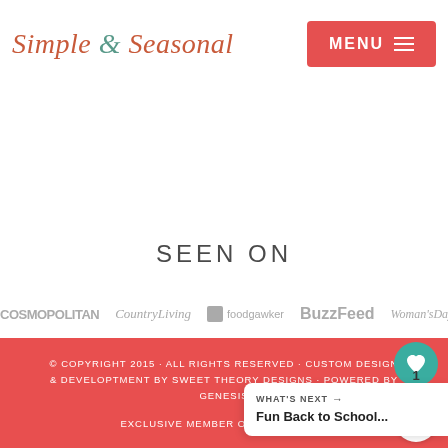Simple & Seasonal | MENU
SEEN ON
[Figure (logo): Media logos strip: COSMOPOLITAN, CountryLiving, foodgawker, BuzzFeed, Woman's Day]
© COPYRIGHT 2015 · ALL RIGHTS RESERVED · CUSTOM DESIGN & DEVELOPTMENT BY SWEET THEORY DESIGNS · POWERED BY GENESIS
EXCLUSIVE MEMBER OF MEDIAVINE F...